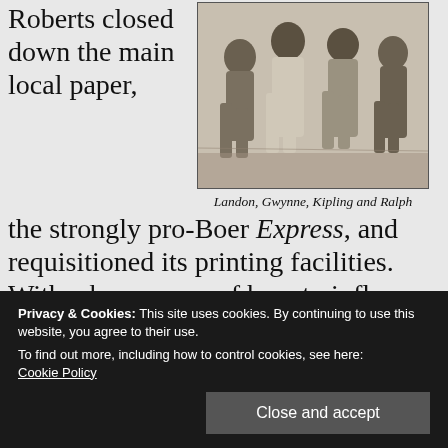Roberts closed down the main local paper,
[Figure (photo): Black and white photograph of four men, captioned Landon, Gwynne, Kipling and Ralph]
Landon, Gwynne, Kipling and Ralph
the strongly pro-Boer Express, and requisitioned its printing facilities. With a keen sense of how to influence the people of the town, he also took over the other local paper The Friend and made it the voice of the British Army.
For a fortnight Kipling worked on the
n very description of this time in Ralph's War's Brighter Side, Kipling's account in "A